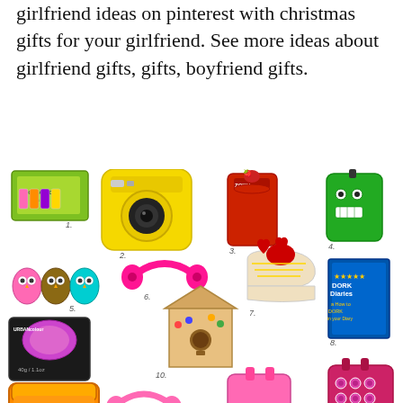girlfriend ideas on pinterest with christmas gifts for your girlfriend. See more ideas about girlfriend gifts, gifts, boyfriend gifts.
[Figure (illustration): A collage of 14 numbered gift items for girls including: 1. Hopscotch Kids nail polish set, 2. Yellow Fujifilm Instax Mini 8 camera, 3. Zoku slushie maker red cup, 4. Green glitter monster bag clip, 5. Three owl figurines (pink, brown, teal), 6. Pink headphones, 7. Heart sneakers with red heart tongues, 8. Dork Diaries book, 9. Urban Color eyeshadow, 10. Decorative birdhouse kit, 11. Orange container with art supplies, 12. Pink headphones, 13. Pink backpack, 14. Pink patterned backpack]